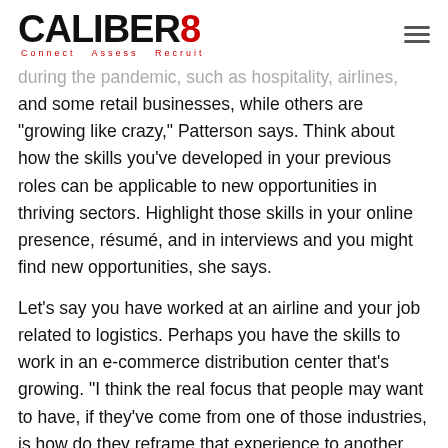CALIBER8 — Connect · Assess · Recruit
during the pandemic, such as hospitality, airlines, and some retail businesses, while others are “growing like crazy,” Patterson says. Think about how the skills you’ve developed in your previous roles can be applicable to new opportunities in thriving sectors. Highlight those skills in your online presence, résumé, and in interviews and you might find new opportunities, she says.
Let’s say you have worked at an airline and your job related to logistics. Perhaps you have the skills to work in an e-commerce distribution center that’s growing. “I think the real focus that people may want to have, if they’ve come from one of those industries, is how do they reframe that experience to another industry that is in growth mode?” she says.